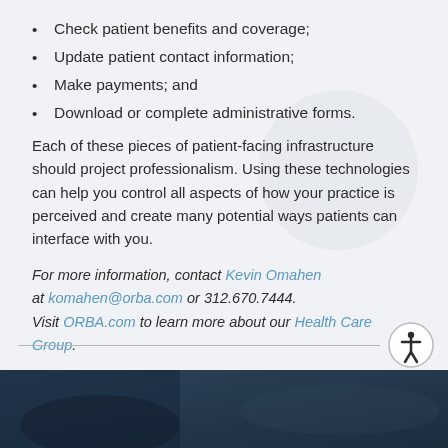Check patient benefits and coverage;
Update patient contact information;
Make payments; and
Download or complete administrative forms.
Each of these pieces of patient-facing infrastructure should project professionalism. Using these technologies can help you control all aspects of how your practice is perceived and create many potential ways patients can interface with you.
For more information, contact Kevin Omahen at komahen@orba.com or 312.670.7444. Visit ORBA.com to learn more about our Health Care Group.
[Figure (other): Dark blue-toned photograph at the bottom of the page, showing an outdoor coastal or aerial scene.]